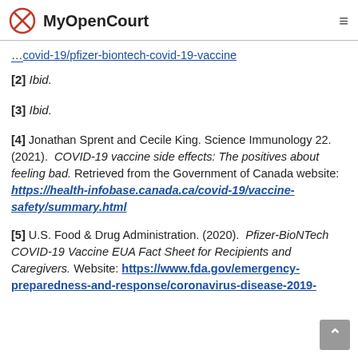MyOpenCourt
[...] covid-19/pfizer-biontech-covid-19-vaccine (link, partial/truncated at top)
[2] Ibid.
[3] Ibid.
[4] Jonathan Sprent and Cecile King. Science Immunology 22. (2021). COVID-19 vaccine side effects: The positives about feeling bad. Retrieved from the Government of Canada website: https://health-infobase.canada.ca/covid-19/vaccine-safety/summary.html
[5] U.S. Food & Drug Administration. (2020). Pfizer-BioNTech COVID-19 Vaccine EUA Fact Sheet for Recipients and Caregivers. Website: https://www.fda.gov/emergency-preparedness-and-response/coronavirus-disease-2019-